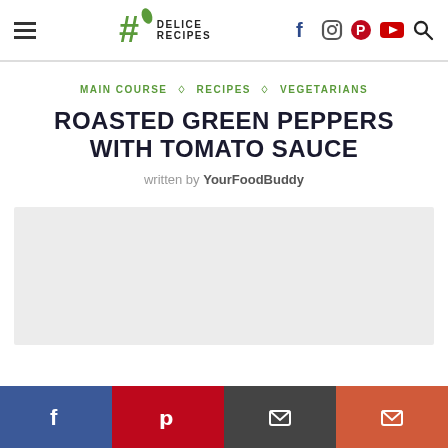Delice Recipes — MAIN COURSE ◇ RECIPES ◇ VEGETARIANS
MAIN COURSE ◇ RECIPES ◇ VEGETARIANS
ROASTED GREEN PEPPERS WITH TOMATO SAUCE
written by YourFoodBuddy
[Figure (photo): Gray placeholder rectangle for recipe food photo]
Social share bar: Facebook, Pinterest, Print, Email